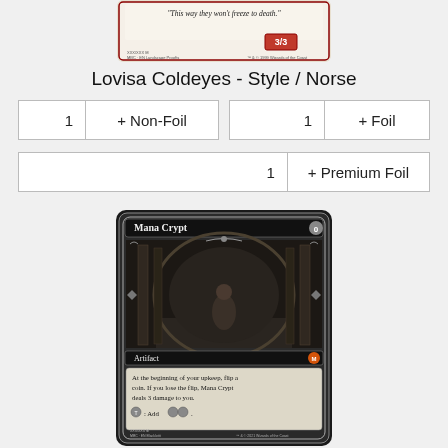[Figure (illustration): Bottom portion of a Magic: The Gathering card (Lovisa Coldeyes, Norse style) showing flavor text 'This way they won't freeze to death.' with 3/3 power/toughness and set info]
Lovisa Coldeyes - Style / Norse
| 1 | + Non-Foil | 1 | + Foil |
| 1 | + Premium Foil |
[Figure (illustration): Magic: The Gathering card 'Mana Crypt' showing an ornate black-bordered artifact card with a throne room illustration, card type 'Artifact', text 'At the beginning of your upkeep, flip a coin. If you lose the flip, Mana Crypt deals 3 damage to you. {T}: Add {C}{C}.' and set info]